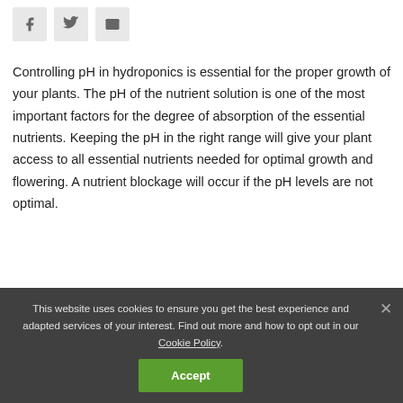[Figure (other): Social share buttons: Facebook (f), Twitter (bird icon), Email (envelope icon)]
Controlling pH in hydroponics is essential for the proper growth of your plants. The pH of the nutrient solution is one of the most important factors for the degree of absorption of the essential nutrients. Keeping the pH in the right range will give your plant access to all essential nutrients needed for optimal growth and flowering. A nutrient blockage will occur if the pH levels are not optimal.
Active Ingredient: Phosphoric acid – 59%
This website uses cookies to ensure you get the best experience and adapted services of your interest. Find out more and how to opt out in our Cookie Policy.